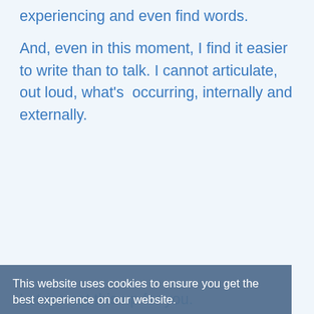experiencing and even find words.
And, even in this moment, I find it easier to write than to talk. I cannot articulate, out loud, what's  occurring, internally and externally.
This website uses cookies to ensure you get the best experience on our website.
Let me set this up for you.
Learn more
On New Year's Eve, I was sitting on a couch in Denver at the home of one of my dearest friends (also a clinician). We had just watched the ball drop. There was music and dancing and laughter and toasts. I was
Got it!